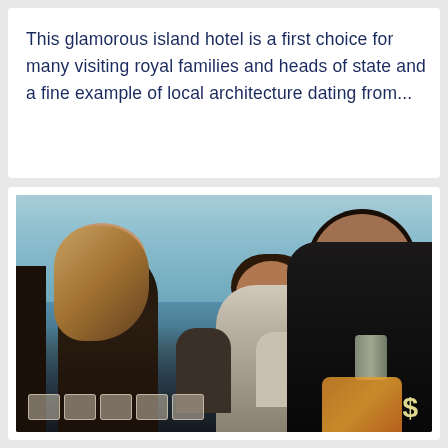This glamorous island hotel is a first choice for many visiting royal families and heads of state and a fine example of local architecture dating from...
[Figure (photo): Outdoor social gathering scene photographed at dusk/sunset. Several people are visible in silhouette or low light: a woman with long blonde hair in a floral dress on the left, a bearded man in a white t-shirt in the center holding a drink, and a taller man in dark clothing on the right also holding a can/drink. Background figures are seated. The sky is a blue-grey gradient. Bottom-left shows a row of five small square thumbnail icons; bottom-right shows a dollar sign symbol and orange/gold accent shapes.]